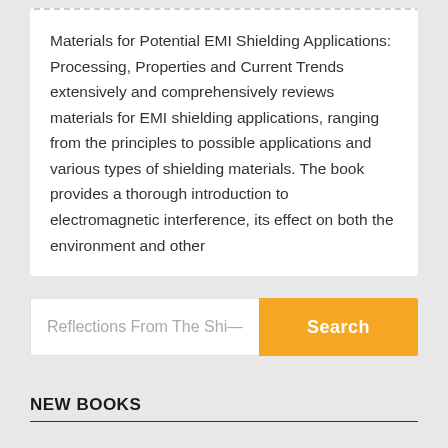Materials for Potential EMI Shielding Applications: Processing, Properties and Current Trends extensively and comprehensively reviews materials for EMI shielding applications, ranging from the principles to possible applications and various types of shielding materials. The book provides a thorough introduction to electromagnetic interference, its effect on both the environment and other
Reflections From The Shi…
NEW BOOKS